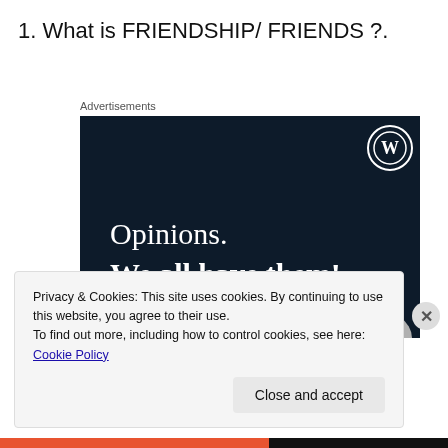1. What is FRIENDSHIP/ FRIENDS ?.
Advertisements
[Figure (illustration): Dark navy blue WordPress advertisement banner reading 'Opinions. We all have them!' with WordPress logo in top right corner, pink button at bottom left, and gray circle at bottom right.]
Privacy & Cookies: This site uses cookies. By continuing to use this website, you agree to their use.
To find out more, including how to control cookies, see here: Cookie Policy
Close and accept